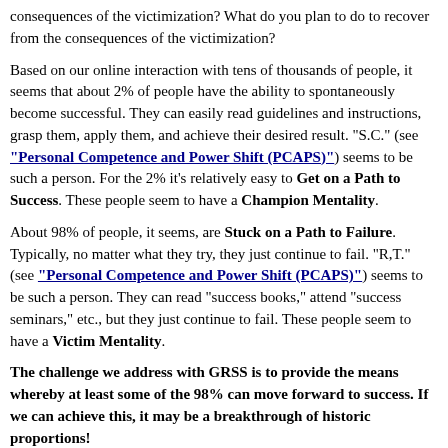consequences of the victimization? What do you plan to do to recover from the consequences of the victimization?
Based on our online interaction with tens of thousands of people, it seems that about 2% of people have the ability to spontaneously become successful. They can easily read guidelines and instructions, grasp them, apply them, and achieve their desired result. "S.C." (see "Personal Competence and Power Shift (PCAPS)") seems to be such a person. For the 2% it's relatively easy to Get on a Path to Success. These people seem to have a Champion Mentality.
About 98% of people, it seems, are Stuck on a Path to Failure. Typically, no matter what they try, they just continue to fail. "R,T." (see "Personal Competence and Power Shift (PCAPS)") seems to be such a person. They can read "success books," attend "success seminars," etc., but they just continue to fail. These people seem to have a Victim Mentality.
The challenge we address with GRSS is to provide the means whereby at least some of the 98% can move forward to success. If we can achieve this, it may be a breakthrough of historic proportions!
The purpose of GRSS is to Get You on a Path to Success or a